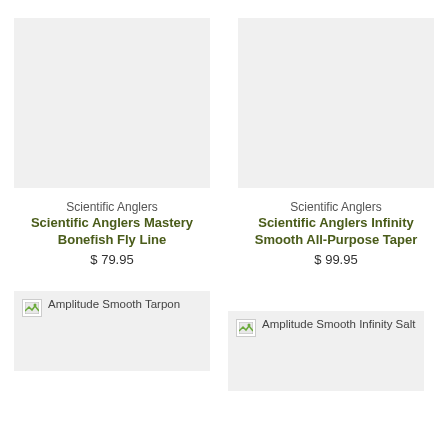[Figure (photo): Product image placeholder (light gray box) for Scientific Anglers Mastery Bonefish Fly Line]
Scientific Anglers
Scientific Anglers Mastery Bonefish Fly Line
$ 79.95
[Figure (photo): Product image placeholder (light gray box) for Scientific Anglers Infinity Smooth All-Purpose Taper]
Scientific Anglers
Scientific Anglers Infinity Smooth All-Purpose Taper
$ 99.95
[Figure (photo): Broken image thumbnail with alt text: Amplitude Smooth Tarpon]
[Figure (photo): Broken image thumbnail with alt text: Amplitude Smooth Infinity Salt]